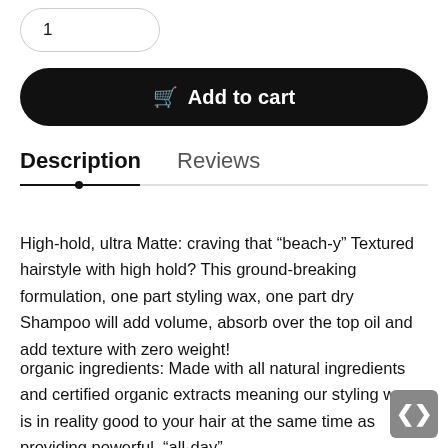1
Add to cart
Description
Reviews
High-hold, ultra Matte: craving that “beach-y” Textured hairstyle with high hold? This ground-breaking formulation, one part styling wax, one part dry Shampoo will add volume, absorb over the top oil and add texture with zero weight!
organic ingredients: Made with all natural ingredients and certified organic extracts meaning our styling wax is in reality good to your hair at the same time as providing powerful, “all-day” nourishment from roots to ends Easy to make use of: rub a small